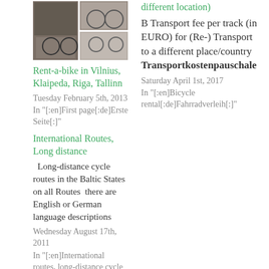[Figure (photo): Collage of bicycle photos: one larger photo on the left showing bikes, two smaller photos on the right stacked vertically]
Rent-a-bike in Vilnius, Klaipeda, Riga, Tallinn
Tuesday February 5th, 2013
In "[:en]First page[:de]Erste Seite[:]"
different location)
B Transport fee per track (in EURO) for (Re-) Transport to a different place/country Transportkostenpauschale
Saturday April 1st, 2017
In "[:en]Bicycle rental[:de]Fahrradverleih[:]"
International Routes, Long distance
Long-distance cycle routes in the Baltic States on all Routes  there are English or German language descriptions
Wednesday August 17th, 2011
In "[:en]International routes, long-distance cycle routes[:de]Internationale Routen, Fernrouten[:]"